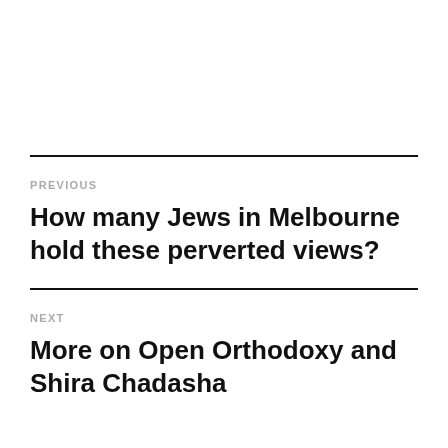PREVIOUS
How many Jews in Melbourne hold these perverted views?
NEXT
More on Open Orthodoxy and Shira Chadasha